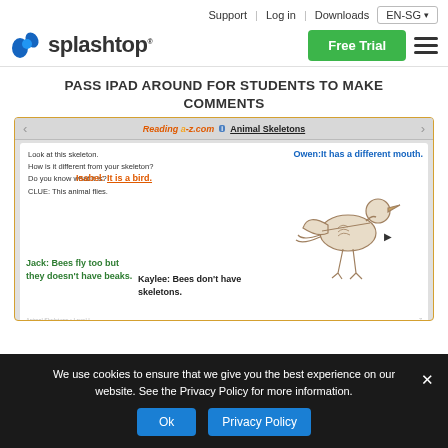Support | Log in | Downloads | EN-SG
[Figure (logo): Splashtop logo with blue splash icon and bold text 'splashtop']
PASS IPAD AROUND FOR STUDENTS TO MAKE COMMENTS
[Figure (screenshot): Screenshot of Reading a-z.com Animal Skeletons page with student comments overlaid: Owen says 'It has a different mouth', Isabel says 'It is a bird', Jack says 'Bees fly too but they doesn't have beaks', Kaylee says 'Bees don't have skeletons'. Bird skeleton image in center.]
We use cookies to ensure that we give you the best experience on our website. See the Privacy Policy for more information.